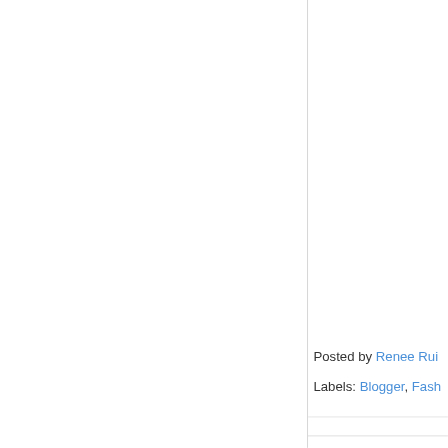Posted by Renee Rui...
Labels: Blogger, Fash...
Thursday, August 29...